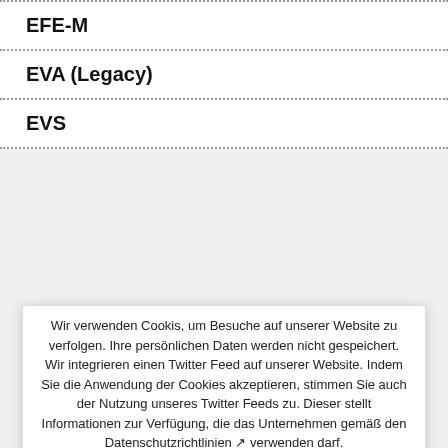EFE-M
EVA (Legacy)
EVS
EZA
GSPS High Power Systems
Wir verwenden Cookis, um Besuche auf unserer Website zu verfolgen. Ihre persönlichen Daten werden nicht gespeichert. Wir integrieren einen Twitter Feed auf unserer Website. Indem Sie die Anwendung der Cookies akzeptieren, stimmen Sie auch der Nutzung unseres Twitter Feeds zu. Dieser stellt Informationen zur Verfügung, die das Unternehmen gemäß den Datenschutzrichtlinien verwenden darf.
COOKIES AKZEPTIEREN
COOKIES ABLEHNEN
Cookie Richtlinie